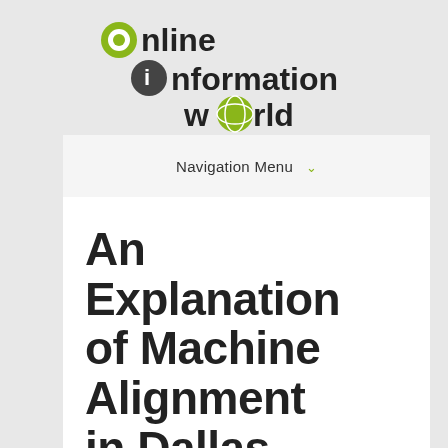[Figure (logo): Online Information World logo with green circular icons for O, i, and o letters in the text]
Navigation Menu
An Explanation of Machine Alignment in Dallas